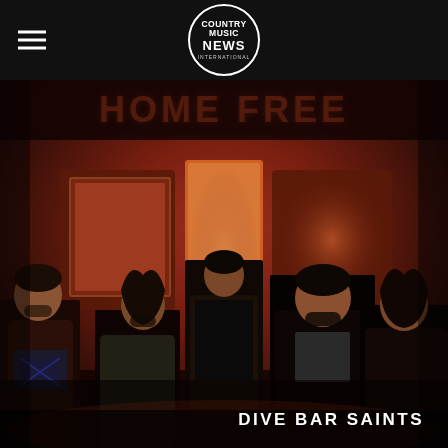COUNTRY MUSIC NEWS INTERNATIONAL
[Figure (photo): Five male members of the band Home Free posed in a dimly lit bar/venue with red neon lighting spelling 'HOME FREE' above them. The men are dressed in dark jackets and casual attire, standing in moody reddish ambiance.]
DIVE BAR SAINTS